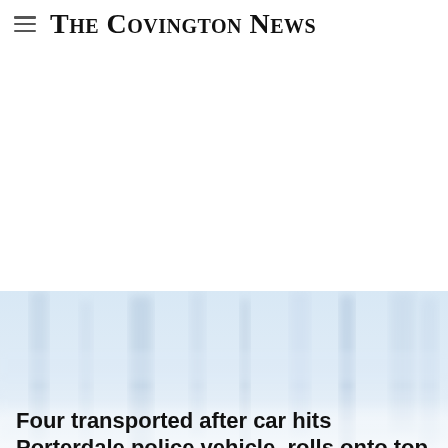The Covington News
[Figure (photo): Blurred outdoor scene with pale blue and white tones, suggesting trees or a road scene, used as background for a news article headline]
Four transported after car hits Porterdale police vehicle, rolls onto top